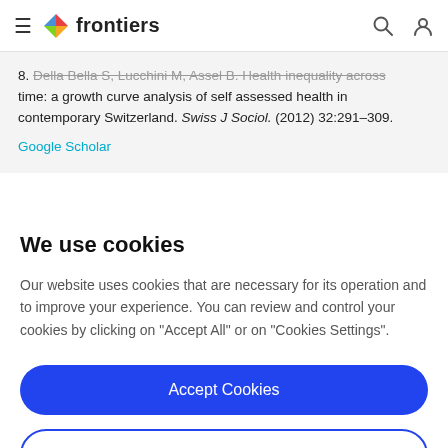frontiers
8. Della Bella S, Lucchini M, Assel B. Health inequality across time: a growth curve analysis of self assessed health in contemporary Switzerland. Swiss J Sociol. (2012) 32:291–309.
Google Scholar
We use cookies
Our website uses cookies that are necessary for its operation and to improve your experience. You can review and control your cookies by clicking on "Accept All" or on "Cookies Settings".
Accept Cookies
Cookies Settings